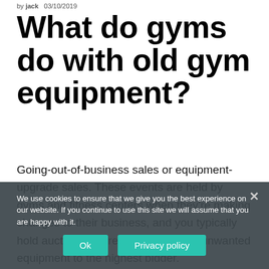by jack  03/10/2019
What do gyms do with old gym equipment?
Going-out-of-business sales or equipment-upgrade sales. These events are held by gyms and fitness centers when they're making changes to their business, and you typically hold auctions where they will sell off unwanted equipment to the highest bidder.
We use cookies to ensure that we give you the best experience on our website. If you continue to use this site we will assume that you are happy with it.